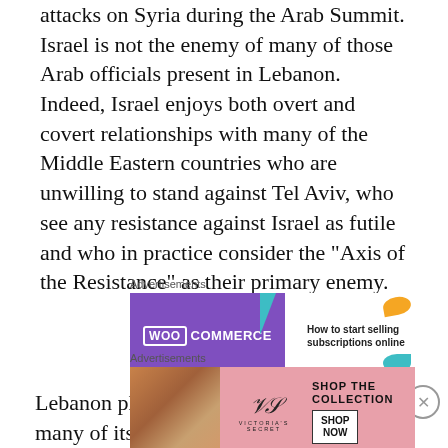attacks on Syria during the Arab Summit. Israel is not the enemy of many of those Arab officials present in Lebanon. Indeed, Israel enjoys both overt and covert relationships with many of the Middle Eastern countries who are unwilling to stand against Tel Aviv, who see any resistance against Israel as futile and who in practice consider the “Axis of the Resistance” as their primary enemy.
[Figure (infographic): WooCommerce advertisement banner: purple left side with WooCommerce logo and teal arrow, white right side with text 'How to start selling subscriptions online' and decorative orange and teal shapes]
Lebanon plays its part in the situation: many of its